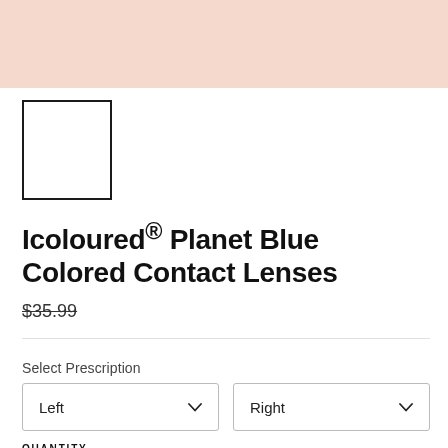[Figure (photo): Peach/light pink textured background image at top of page — product hero image area]
[Figure (other): Small white thumbnail image with black border, showing product preview]
Icoloured® Planet Blue Colored Contact Lenses
$35.99
Select Prescription
Left
Right
QUANTITY